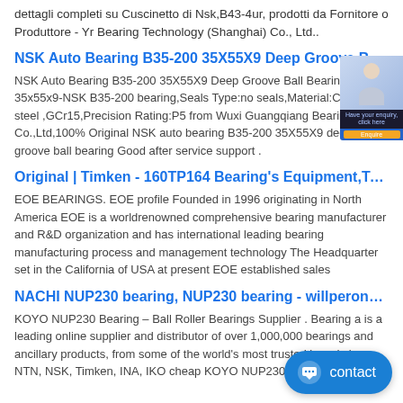dettagli completi su Cuscinetto di Nsk,B43-4ur, prodotti da Fornitore o Produttore - Yr Bearing Technology (Shanghai) Co., Ltd..
NSK Auto Bearing B35-200 35X55X9 Deep Groove Ball Beari...
NSK Auto Bearing B35-200 35X55X9 Deep Groove Ball Bearing 35x55x9-NSK B35-200 bearing,Seals Type:no seals,Material:Chrome steel ,GCr15,Precision Rating:P5 from Wuxi Guangqiang Bearing Co.,Ltd,100% Original NSK auto bearing B35-200 35X55X9 deep groove ball bearing Good after service support .
Original | Timken - 160TP164 Bearing's Equipment,Trad...
EOE BEARINGS. EOE profile Founded in 1996 originating in North America EOE is a worldrenowned comprehensive bearing manufacturer and R&D organization and has international leading bearing manufacturing process and management technology The Headquarter set in the California of USA at present EOE established sales
NACHI NUP230 bearing, NUP230 bearing - willperone.n...
KOYO NUP230 Bearing – Ball Roller Bearings Supplier . Bearing a is a leading online supplier and distributor of over 1,000,000 bearings and ancillary products, from some of the world's most trusted brands i... NTN, NSK, Timken, INA, IKO cheap KOYO NUP230 Bearin...